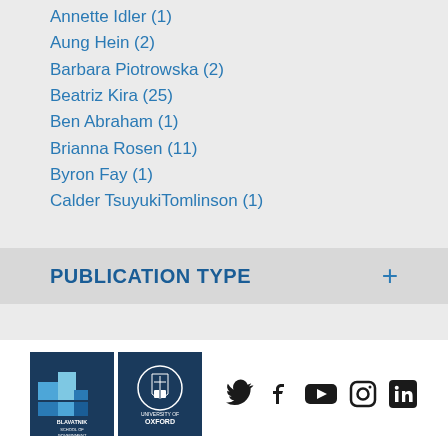Annette Idler (1)
Aung Hein (2)
Barbara Piotrowska (2)
Beatriz Kira (25)
Ben Abraham (1)
Brianna Rosen (11)
Byron Fay (1)
Calder TsuyukiTomlinson (1)
PUBLICATION TYPE
[Figure (logo): Blavatnik School of Government and University of Oxford logos]
[Figure (infographic): Social media icons: Twitter, Facebook, YouTube, Instagram, LinkedIn]